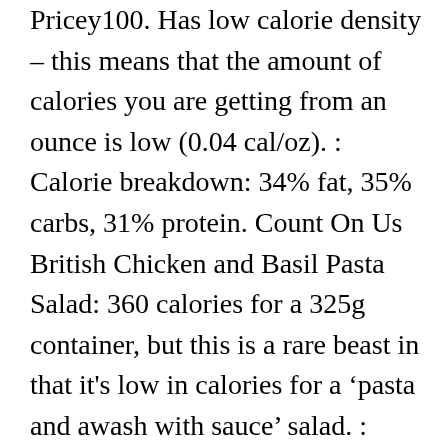Pricey100. Has low calorie density – this means that the amount of calories you are getting from an ounce is low (0.04 cal/oz). : Calorie breakdown: 34% fat, 35% carbs, 31% protein. Count On Us British Chicken and Basil Pasta Salad: 360 calories for a 325g container, but this is a rare beast in that it's low in calories for a "pasta and awash with sauce" salad. : Calorie breakdown: 0% fat, 0% carbs, 0% protein. 86 % 18g Carbs. marks salad nutrition facts and nutritional information. Food to Order, our online food entertainment service, has moved. About Food Exercise Apps Community Blog Shop Premium. Marks and Spencer's chicken and smoked bacon salad on soft multigrain